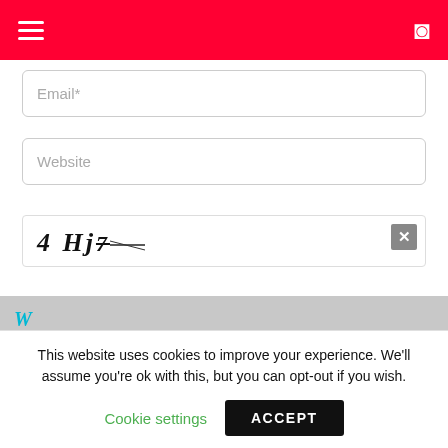Navigation bar with hamburger menu and moon icon
Email*
Website
[Figure (other): CAPTCHA image showing characters '4 Hj 7' in italic bold style with strikethrough lines]
Please input characters displayed above.
By using this form you agree with the storage...
This website uses cookies to improve your experience. We'll assume you're ok with this, but you can opt-out if you wish.
Cookie settings
ACCEPT